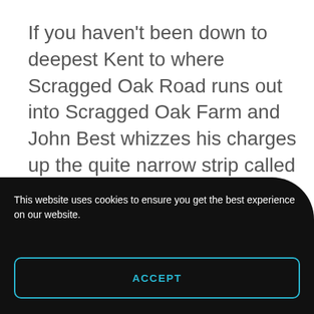If you haven't been down to deepest Kent to where Scragged Oak Road runs out into Scragged Oak Farm and John Best whizzes his charges up the quite narrow strip called Broad Street Hill, then you ought to. Three miles from Maidstone and less than 30 from central London may sound positively suburban, but once
This website uses cookies to ensure you get the best experience on our website.
ACCEPT